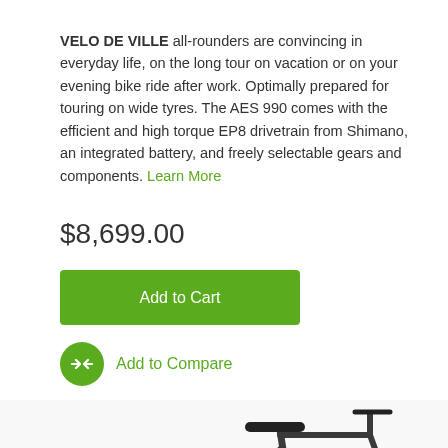VELO DE VILLE all-rounders are convincing in everyday life, on the long tour on vacation or on your evening bike ride after work. Optimally prepared for touring on wide tyres. The AES 990 comes with the efficient and high torque EP8 drivetrain from Shimano, an integrated battery, and freely selectable gears and components. Learn More
$8,699.00
Add to Cart
Add to Compare
[Figure (photo): Partial view of a dark grey VELO DE VILLE electric bicycle showing the rear wheel, seat, frame, and handlebar area from the side]